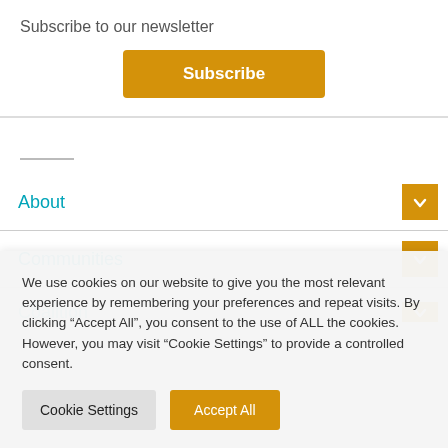Subscribe to our newsletter
Subscribe
About
Communities
Coalition
We use cookies on our website to give you the most relevant experience by remembering your preferences and repeat visits. By clicking “Accept All”, you consent to the use of ALL the cookies. However, you may visit “Cookie Settings” to provide a controlled consent.
Cookie Settings
Accept All